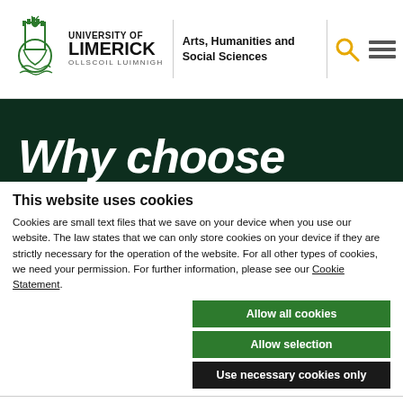University of Limerick — Arts, Humanities and Social Sciences
[Figure (screenshot): Green banner with large white italic text 'Why choose']
This website uses cookies
Cookies are small text files that we save on your device when you use our website. The law states that we can only store cookies on your device if they are strictly necessary for the operation of the website. For all other types of cookies, we need your permission. For further information, please see our Cookie Statement.
Allow all cookies
Allow selection
Use necessary cookies only
Necessary   Preferences   Statistics   Marketing   Show details